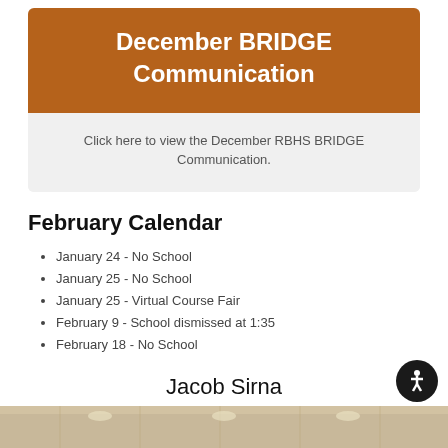December BRIDGE Communication
Click here to view the December RBHS BRIDGE Communication.
February Calendar
January 24 - No School
January 25 - No School
January 25 - Virtual Course Fair
February 9 - School dismissed at 1:35
February 18 - No School
Jacob Sirna
[Figure (photo): Bottom strip showing interior of a school building with ceiling lights]